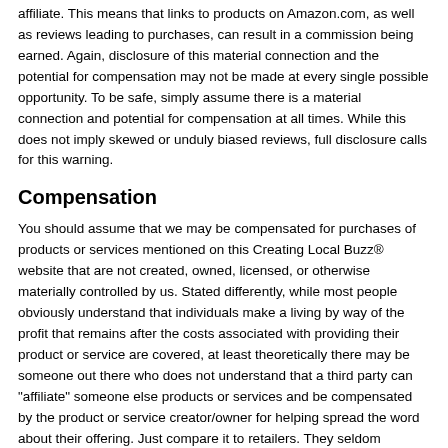affiliate. This means that links to products on Amazon.com, as well as reviews leading to purchases, can result in a commission being earned. Again, disclosure of this material connection and the potential for compensation may not be made at every single possible opportunity. To be safe, simply assume there is a material connection and potential for compensation at all times. While this does not imply skewed or unduly biased reviews, full disclosure calls for this warning.
Compensation
You should assume that we may be compensated for purchases of products or services mentioned on this Creating Local Buzz® website that are not created, owned, licensed, or otherwise materially controlled by us. Stated differently, while most people obviously understand that individuals make a living by way of the profit that remains after the costs associated with providing their product or service are covered, at least theoretically there may be someone out there who does not understand that a third party can "affiliate" someone else products or services and be compensated by the product or service creator/owner for helping spread the word about their offering. Just compare it to retailers. They seldom produce anything, but rather make their money